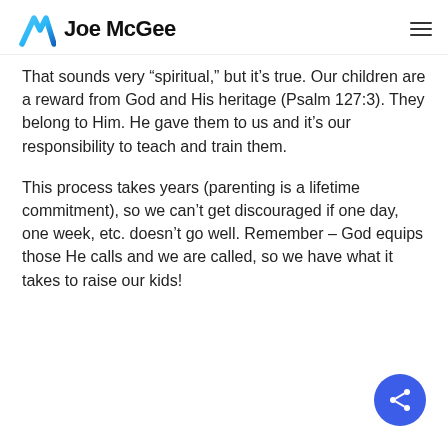Joe McGee
That sounds very “spiritual,” but it’s true. Our children are a reward from God and His heritage (Psalm 127:3). They belong to Him. He gave them to us and it’s our responsibility to teach and train them.
This process takes years (parenting is a lifetime commitment), so we can’t get discouraged if one day, one week, etc. doesn’t go well. Remember – God equips those He calls and we are called, so we have what it takes to raise our kids!